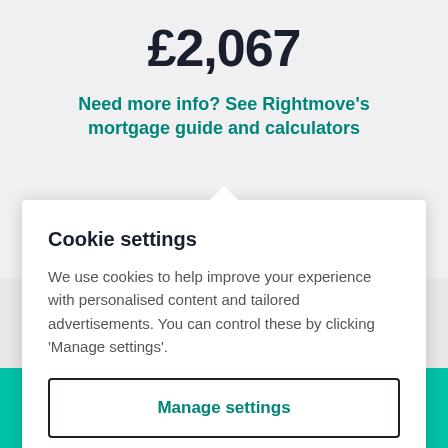£2,067
Need more info? See Rightmove's mortgage guide and calculators
Cookie settings
We use cookies to help improve your experience with personalised content and tailored advertisements. You can control these by clicking 'Manage settings'.
Manage settings
Allow all cookies
Email agent
Call agent